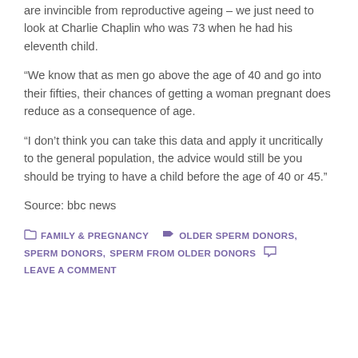are invincible from reproductive ageing – we just need to look at Charlie Chaplin who was 73 when he had his eleventh child.
“We know that as men go above the age of 40 and go into their fifties, their chances of getting a woman pregnant does reduce as a consequence of age.
“I don’t think you can take this data and apply it uncritically to the general population, the advice would still be you should be trying to have a child before the age of 40 or 45.”
Source: bbc news
FAMILY & PREGNANCY   OLDER SPERM DONORS, SPERM DONORS, SPERM FROM OLDER DONORS   LEAVE A COMMENT